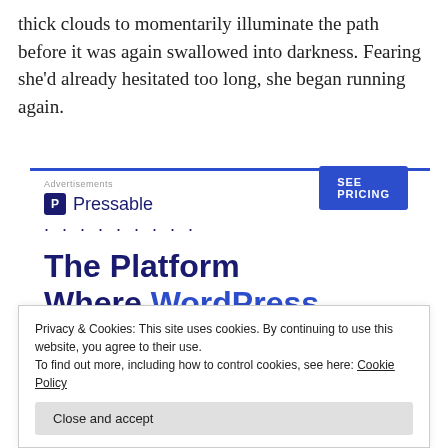thick clouds to momentarily illuminate the path before it was again swallowed into darkness. Fearing she'd already hesitated too long, she began running again.
[Figure (other): Pressable advertisement banner with logo, dotted separator, and headline 'The Platform Where WordPress Works Best' with a 'SEE PRICING' button. Includes an 'Advertisements' label at the top and a blue horizontal rule.]
Privacy & Cookies: This site uses cookies. By continuing to use this website, you agree to their use.
To find out more, including how to control cookies, see here: Cookie Policy
Close and accept